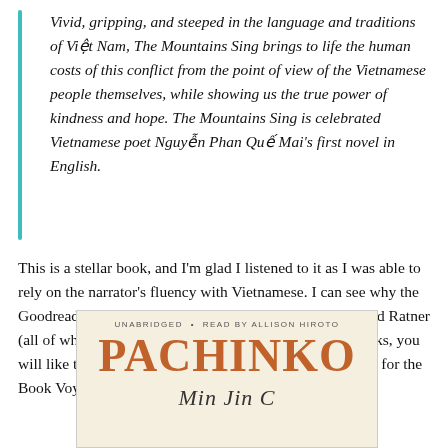Vivid, gripping, and steeped in the language and traditions of Việt Nam, The Mountains Sing brings to life the human costs of this conflict from the point of view of the Vietnamese people themselves, while showing us the true power of kindness and hope. The Mountains Sing is celebrated Vietnamese poet Nguyễn Phan Quế Mai's first novel in English.
This is a stellar book, and I'm glad I listened to it as I was able to rely on the narrator's fluency with Vietnamese. I can see why the Goodreads review mentioned the books by Lee, Gyasi, and Ratner (all of which I've also read). If you liked any of those books, you will like this one for sure. I read this book as my selection for the Book Voyage Challenge's book set in South Asia.
[Figure (illustration): Book cover for Pachinko audiobook, unabridged, read by Allison Hiroto. Shows the title PACHINKO in large terracotta/orange letters on a cream/beige background, with the author's name in italic script below.]